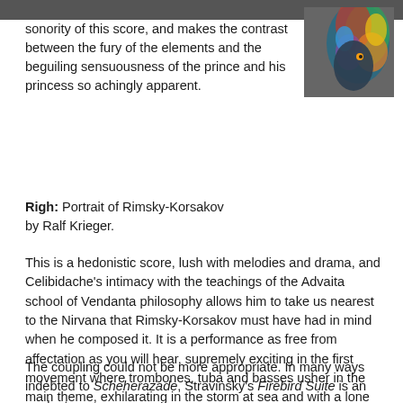sonority of this score, and makes the contrast between the fury of the elements and the beguiling sensuousness of the prince and his princess so achingly apparent.
[Figure (illustration): Colorful bird illustration in top right corner, partially visible]
Righ: Portrait of Rimsky-Korsakov by Ralf Krieger.
This is a hedonistic score, lush with melodies and drama, and Celibidache's intimacy with the teachings of the Advaita school of Vendanta philosophy allows him to take us nearest to the Nirvana that Rimsky-Korsakov must have had in mind when he composed it. It is a performance as free from affectation as you will hear, supremely exciting in the first movement where trombones, tuba and basses usher in the main theme, exhilarating in the storm at sea and with a lone violin that hovers and soars majestically in the love music. Unrivalled.
The coupling could not be more appropriate. In many ways indebted to Scheherazade, Stravinsky's Firebird Suite is an opulent